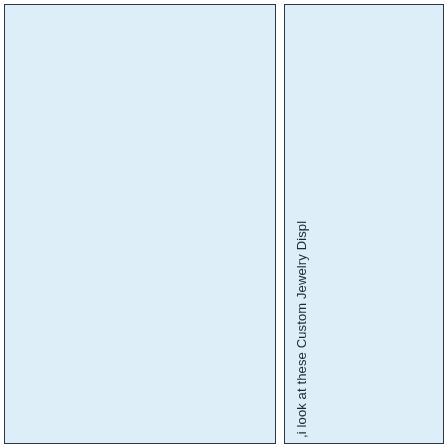[Figure (other): Left blue panel - empty blue rectangle]
,i look at these Custom Jewelry Displ